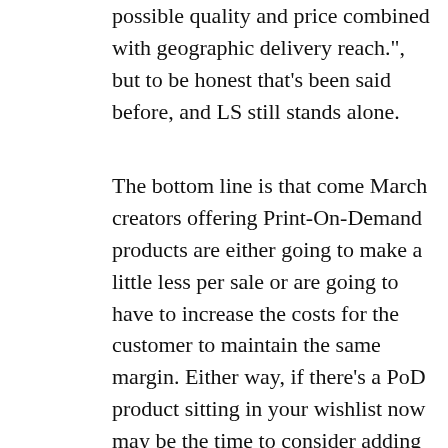possible quality and price combined with geographic delivery reach.", but to be honest that's been said before, and LS still stands alone.
The bottom line is that come March creators offering Print-On-Demand products are either going to make a little less per sale or are going to have to increase the costs for the customer to maintain the same margin. Either way, if there's a PoD product sitting in your wishlist now may be the time to consider adding it to your cart instead.
Solo But Not Alone 2 Bundle Raises Money For Suicide Prevention: The second itch.io bundle of its kind, the Solo But Not Alone 2 bundle supports Jasper's Game Day, "an organization dedicated to suicide prevention and letting people know "You Are Not A Critical Failure"!" From the bundle's description: